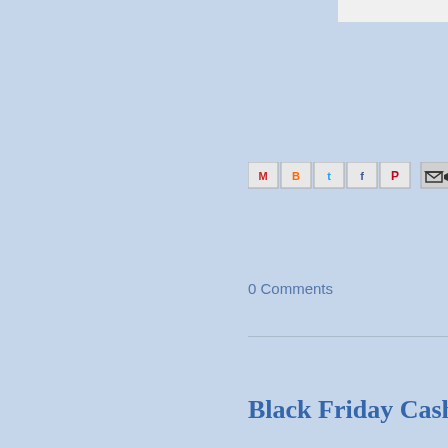[Figure (screenshot): Social sharing icons: Gmail (M), Blogger (B), Twitter (t), Facebook (f), Pinterest (P), and an email forward icon]
0 Comments
Black Friday Cash Win...
[Figure (illustration): Teal/dark blue decorative banner image with text 'Cong' (Congratulations) visible in large white serif font]
And the winner of $2...